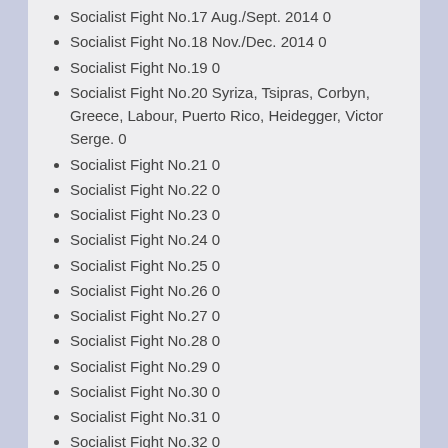Socialist Fight No.17 Aug./Sept. 2014 0
Socialist Fight No.18 Nov./Dec. 2014 0
Socialist Fight No.19 0
Socialist Fight No.20 Syriza, Tsipras, Corbyn, Greece, Labour, Puerto Rico, Heidegger, Victor Serge. 0
Socialist Fight No.21 0
Socialist Fight No.22 0
Socialist Fight No.23 0
Socialist Fight No.24 0
Socialist Fight No.25 0
Socialist Fight No.26 0
Socialist Fight No.27 0
Socialist Fight No.28 0
Socialist Fight No.29 0
Socialist Fight No.30 0
Socialist Fight No.31 0
Socialist Fight No.32 0